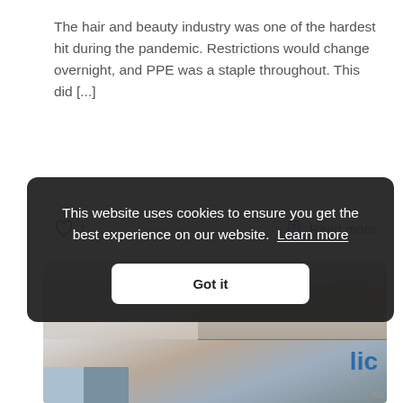The hair and beauty industry was one of the hardest hit during the pandemic. Restrictions would change overnight, and PPE was a staple throughout. This did [...]
♡ 1   |   Read more
[Figure (photo): A photo showing what appears to be a rolled cargo or equipment item on a white surface, with blue logo text visible in the lower right area of the image.]
This website uses cookies to ensure you get the best experience on our website. Learn more
Got it